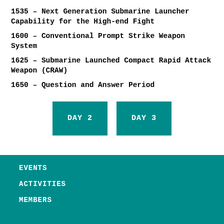1535 – Next Generation Submarine Launcher Capability for the High-end Fight
1600 – Conventional Prompt Strike Weapon System
1625 – Submarine Launched Compact Rapid Attack Weapon (CRAW)
1650 – Question and Answer Period
[Figure (other): Two teal buttons labeled DAY 2 and DAY 3]
EVENTS
ACTIVITIES
MEMBERS